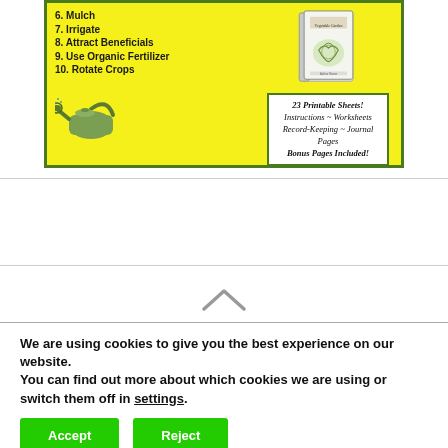[Figure (illustration): Yellow-background gardening book advertisement box with green border. Left side shows numbered list items (6. Mulch, 7. Irrigate, 8. Attract Beneficials, 9. Use Organic Fertilizer, 10. Rotate Crops) and a watering can illustration. Right side shows a gardening book cover illustration and a white sub-box with italic text: '23 Printable Sheets! Instructions ~ Worksheets Record-Keeping ~ Journal Pages Bonus Pages Included!']
We are using cookies to give you the best experience on our website.
You can find out more about which cookies we are using or switch them off in settings.
Accept
Reject